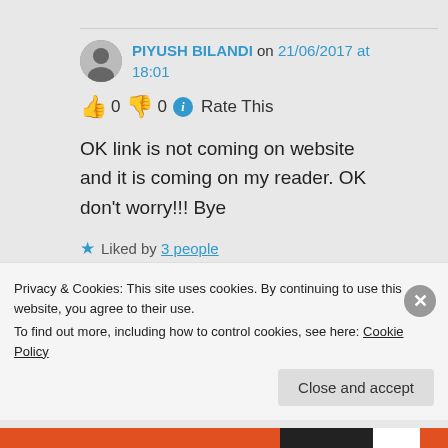PIYUSH BILANDI on 21/06/2017 at 18:01
👍 0 👎 0 ℹ Rate This
OK link is not coming on website and it is coming on my reader. OK don't worry!!! Bye
★ Liked by 3 people
Log in to Reply
Privacy & Cookies: This site uses cookies. By continuing to use this website, you agree to their use.
To find out more, including how to control cookies, see here: Cookie Policy